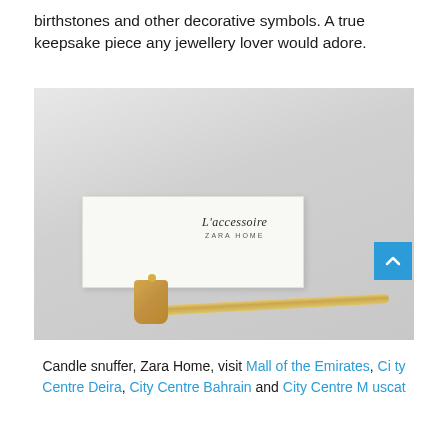birthstones and other decorative symbols. A true keepsake piece any jewellery lover would adore.
[Figure (photo): A gold candle snuffer tool lying in front of a white rectangular box labeled 'L'accessoire ZARA HOME'. The snuffer has a cylindrical cup-shaped end and a long gold handle. A blue scroll-to-top button with a chevron icon is visible in the lower right corner of the image.]
Candle snuffer, Zara Home, visit Mall of the Emirates, City Centre Deira, City Centre Bahrain and City Centre Muscat